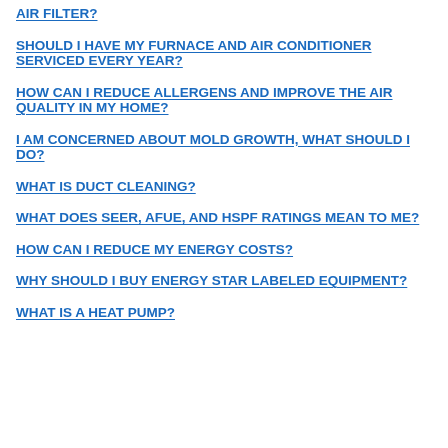AIR FILTER?
SHOULD I HAVE MY FURNACE AND AIR CONDITIONER SERVICED EVERY YEAR?
HOW CAN I REDUCE ALLERGENS AND IMPROVE THE AIR QUALITY IN MY HOME?
I AM CONCERNED ABOUT MOLD GROWTH, WHAT SHOULD I DO?
WHAT IS DUCT CLEANING?
WHAT DOES SEER, AFUE, AND HSPF RATINGS MEAN TO ME?
HOW CAN I REDUCE MY ENERGY COSTS?
WHY SHOULD I BUY ENERGY STAR LABELED EQUIPMENT?
WHAT IS A HEAT PUMP?